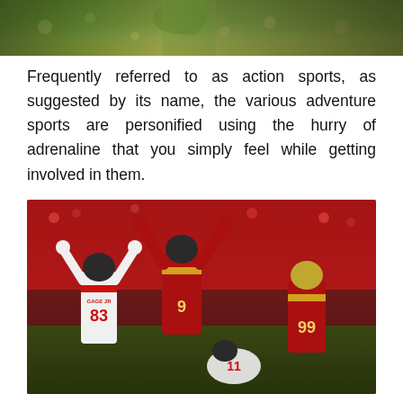[Figure (photo): Top portion of a sports photo showing a person in a green/yellow jersey with crowd in background]
Frequently referred to as action sports, as suggested by its name, the various adventure sports are personified using the hurry of adrenaline that you simply feel while getting involved in them.
[Figure (photo): NFL football game photo showing San Francisco 49ers players celebrating, including player #83 GAGE JR and player #99, with Atlanta Falcons player #11 kneeling on ground, crowd in red in background]